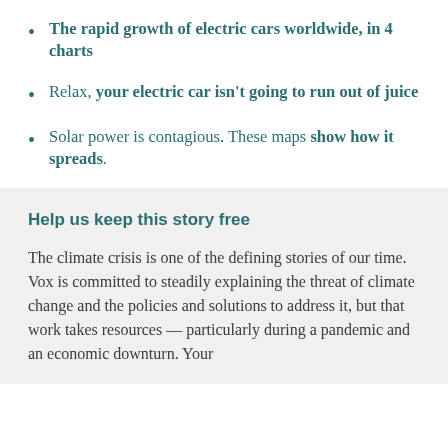The rapid growth of electric cars worldwide, in 4 charts
Relax, your electric car isn't going to run out of juice
Solar power is contagious. These maps show how it spreads.
Help us keep this story free
The climate crisis is one of the defining stories of our time. Vox is committed to steadily explaining the threat of climate change and the policies and solutions to address it, but that work takes resources — particularly during a pandemic and an economic downturn. Your